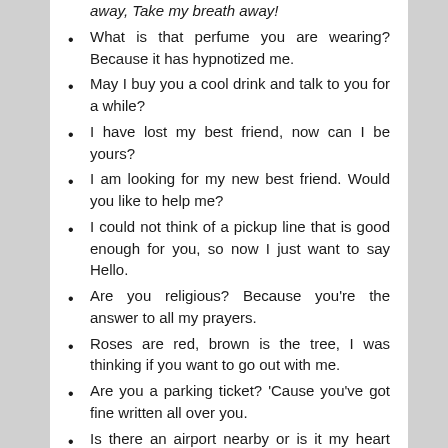away, Take my breath away!
What is that perfume you are wearing? Because it has hypnotized me.
May I buy you a cool drink and talk to you for a while?
I have lost my best friend, now can I be yours?
I am looking for my new best friend. Would you like to help me?
I could not think of a pickup line that is good enough for you, so now I just want to say Hello.
Are you religious? Because you're the answer to all my prayers.
Roses are red, brown is the tree, I was thinking if you want to go out with me.
Are you a parking ticket? 'Cause you've got fine written all over you.
Is there an airport nearby or is it my heart taking off?